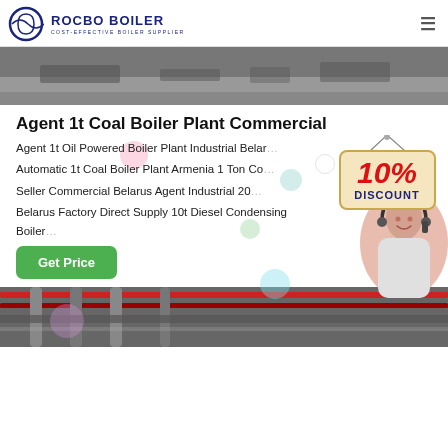ROCBO BOILER COST-EFFECTIVE BOILER SUPPLIER
[Figure (photo): Top aerial/industrial background image, grayish tones]
Agent 1t Coal Boiler Plant Commercial
Agent 1t Oil Powered Boiler Plant Industrial Belarus Automatic 1t Coal Boiler Plant Armenia 1 Ton Coal Seller Commercial Belarus Agent Industrial 20... Belarus Factory Direct Supply 10t Diesel Condensing Boiler
[Figure (infographic): 10% DISCOUNT badge sign]
[Figure (photo): Customer service agent with headset]
[Figure (photo): Bottom industrial boiler pipes photo]